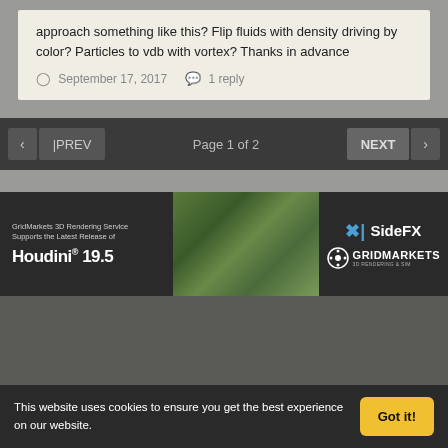approach something like this? Flip fluids with density driving by color? Particles to vdb with vortex? Thanks in advance
September 17, 2017  1 reply
Page 1 of 2
[Figure (screenshot): Advertisement banner for GridMarkets 3D Rendering Service supporting Houdini 19.5, featuring SideFX and GridMarkets logos]
Theme  Contact Us
odiforce
This website uses cookies to ensure you get the best experience on our website.